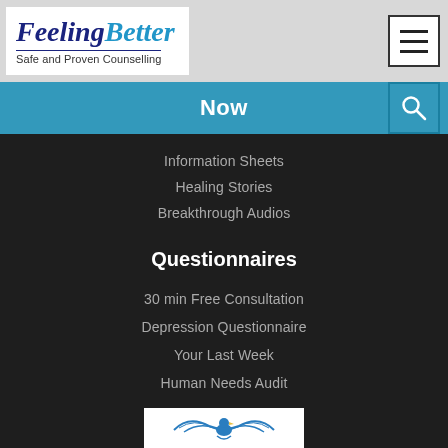[Figure (logo): FeelingBetter logo with tagline 'Safe and Proven Counselling']
Information Sheets
Healing Stories
Breakthrough Audios
Questionnaires
30 min Free Consultation
Depression Questionnaire
Your Last Week
Human Needs Audit
[Figure (logo): Eagle logo at bottom of page]